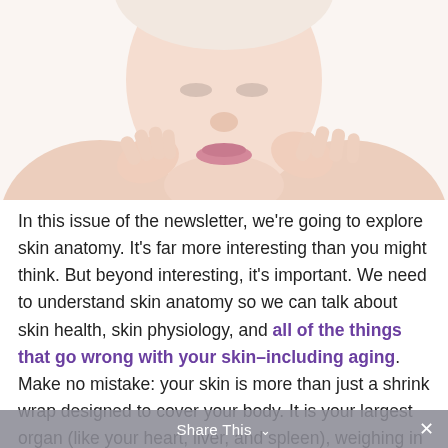[Figure (photo): Close-up photo of a woman's face and hands touching her neck/chin, beauty/skincare style image, cropped to show lower half of face and hands]
In this issue of the newsletter, we're going to explore skin anatomy. It's far more interesting than you might think. But beyond interesting, it's important. We need to understand skin anatomy so we can talk about skin health, skin physiology, and all of the things that go wrong with your skin–including aging. Make no mistake: your skin is more than just a shrink wrap designed to cover your body. It is your largest organ (like your heart, liver, and spleen), weighing in at around six pounds.
Share This